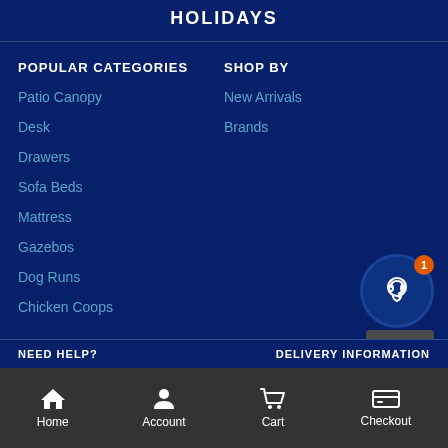HOLIDAYS
POPULAR CATEGORIES
Patio Canopy
Desk
Drawers
Sofa Beds
Mattress
Gazebos
Dog Runs
Chicken Coops
SHOP BY
New Arrivals
Brands
NEED HELP?
DELIVERY INFORMATION
Home  Account  Cart  Checkout